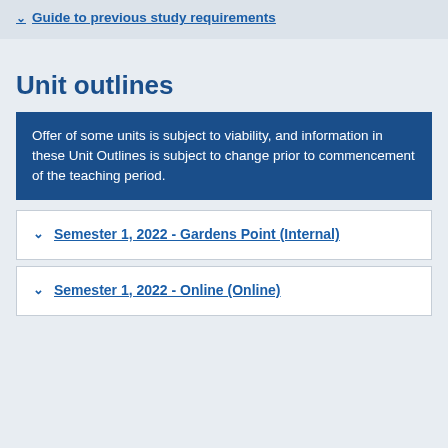Guide to previous study requirements
Unit outlines
Offer of some units is subject to viability, and information in these Unit Outlines is subject to change prior to commencement of the teaching period.
Semester 1, 2022 - Gardens Point (Internal)
Semester 1, 2022 - Online (Online)